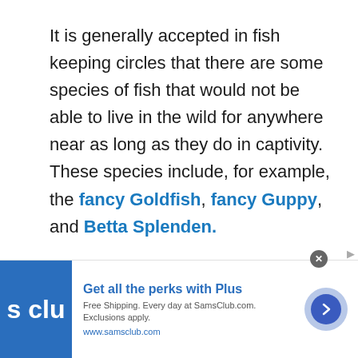It is generally accepted in fish keeping circles that there are some species of fish that would not be able to live in the wild for anywhere near as long as they do in captivity. These species include, for example, the fancy Goldfish, fancy Guppy, and Betta Splenden.
The reason behind this thinking is that these particular species have been
[Figure (other): Sam's Club advertisement banner: blue logo with 's clu' text, headline 'Get all the perks with Plus', body text 'Free Shipping. Every day at SamsClub.com. Exclusions apply.', URL 'www.samsclub.com', arrow button on right.]